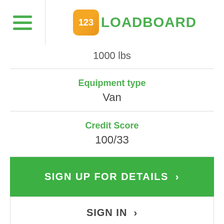[Figure (logo): 123Loadboard logo with orange rounded square containing '123' in white and 'LOADBOARD' in green text]
1000 lbs
Equipment type
Van
Credit Score
100/33
SIGN UP FOR DETAILS >
SIGN IN >